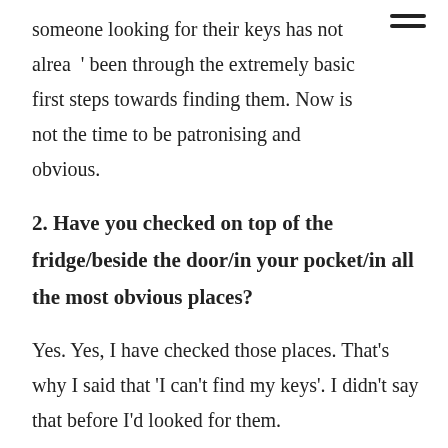someone looking for their keys has not already been through the extremely basic first steps towards finding them. Now is not the time to be patronising and obvious.
2. Have you checked on top of the fridge/beside the door/in your pocket/in all the most obvious places?
Yes. Yes, I have checked those places. That’s why I said that ‘I can’t find my keys’. I didn’t say that before I’d looked for them.
3. They’ll turn up